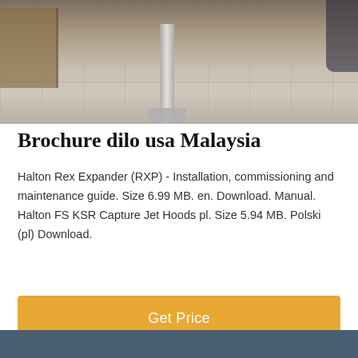[Figure (photo): Top photo showing a construction or installation site with tile flooring and a metal support/pole, wooden crate visible on the left, another person partially visible on the right]
Brochure dilo usa Malaysia
Halton Rex Expander (RXP) - Installation, commissioning and maintenance guide. Size 6.99 MB. en. Download. Manual. Halton FS KSR Capture Jet Hoods pl. Size 5.94 MB. Polski (pl) Download.
[Figure (other): Orange button with text 'Get Price']
[Figure (photo): Bottom photo showing two workers in blue hard hats working on overhead ductwork/equipment. An orange scroll-to-top button is in the bottom-right corner. A chat support avatar (woman with headset) is centered at the bottom. A dark bottom bar shows 'Leave Message' and 'Chat Online' options.]